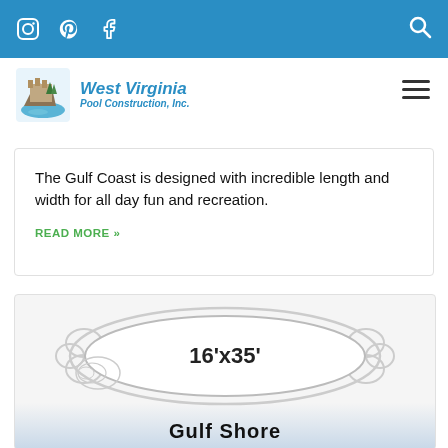West Virginia Pool Construction, Inc. — navigation bar with Instagram, Pinterest, Facebook, and Search icons
[Figure (logo): West Virginia Pool Construction, Inc. logo with castle/cliff illustration]
The Gulf Coast is designed with incredible length and width for all day fun and recreation.
READ MORE »
[Figure (illustration): Pool shape outline labeled 16'x35' for Gulf Shore pool model]
Gulf Shore